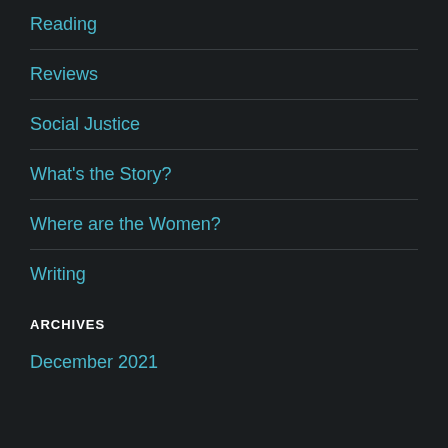Reading
Reviews
Social Justice
What's the Story?
Where are the Women?
Writing
ARCHIVES
December 2021